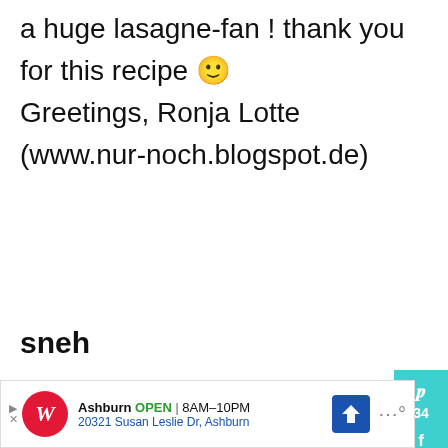a huge lasagne-fan ! thank you for this recipe 🙂 Greetings, Ronja Lotte (www.nur-noch.blogspot.de)
[Figure (screenshot): Reply button partially visible]
[Figure (infographic): Social sharing sidebar with Pinterest (34), Facebook (2), email icons, heart/like button with count 37, and share button]
sneh
September 07, 2014 at 10:18 pm
[Figure (screenshot): Walgreens advertisement banner: Ashburn OPEN 8AM-10PM, 20321 Susan Leslie Dr, Ashburn]